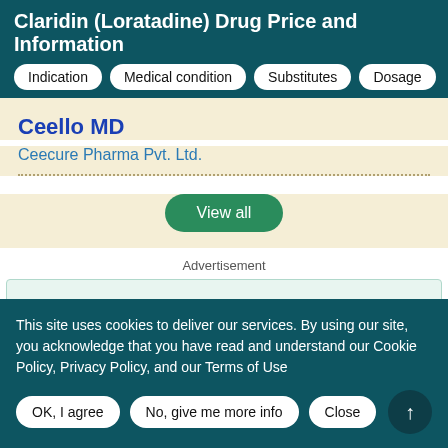Claridin (Loratadine) Drug Price and Information
Indication
Medical condition
Substitutes
Dosage
Ceello MD
Ceecure Pharma Pvt. Ltd.
View all
Advertisement
Recently Added Drugs
This site uses cookies to deliver our services. By using our site, you acknowledge that you have read and understand our Cookie Policy, Privacy Policy, and our Terms of Use
OK, I agree
No, give me more info
Close